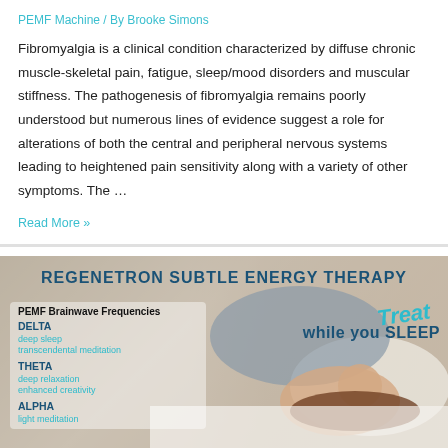PEMF Machine / By Brooke Simons
Fibromyalgia is a clinical condition characterized by diffuse chronic muscle-skeletal pain, fatigue, sleep/mood disorders and muscular stiffness. The pathogenesis of fibromyalgia remains poorly understood but numerous lines of evidence suggest a role for alterations of both the central and peripheral nervous systems leading to heightened pain sensitivity along with a variety of other symptoms. The …
Read More »
[Figure (infographic): Promotional infographic for Regenetron Subtle Energy Therapy showing PEMF Brainwave Frequencies (Delta - deep sleep, transcendental meditation; Theta - deep relaxation, enhanced creativity; Alpha - light meditation) with text 'Treat while you SLEEP' overlaid on photo of sleeping couple.]